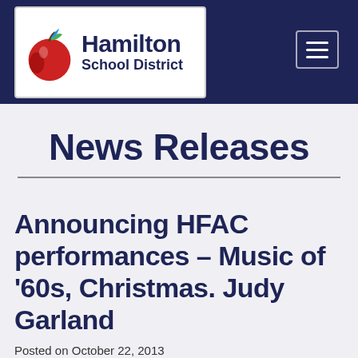[Figure (logo): Hamilton School District logo — an apple with green and blue leaf accents and bold navy text reading Hamilton School District]
Hamilton School District
News Releases
Announcing HFAC performances – Music of '60s, Christmas. Judy Garland
Posted on October 22, 2013